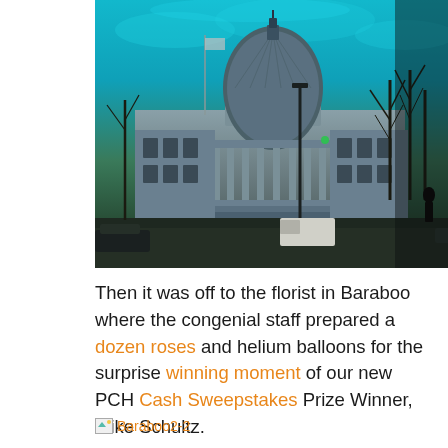[Figure (photo): Exterior photo of a large neoclassical government building (capitol) with a large dome, taken from street level. The sky is dramatic teal/blue. Bare trees visible on the right. Street scene with cars in the foreground.]
Then it was off to the florist in Baraboo where the congenial staff prepared a dozen roses and helium balloons for the surprise winning moment of our new PCH Cash Sweepstakes Prize Winner, Mike Schultz.
[Figure (photo): Thumbnail image link labeled Baraboo2-2]